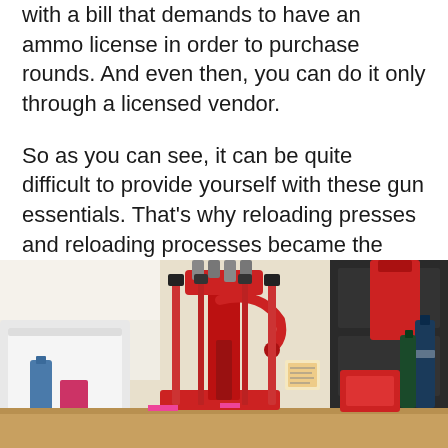with a bill that demands to have an ammo license in order to purchase rounds. And even then, you can do it only through a licensed vendor.
So as you can see, it can be quite difficult to provide yourself with these gun essentials. That’s why reloading presses and reloading processes became the thing many people choose. You won’t have to think about having enough ammunition for the next shooting practice or hunting season.
[Figure (photo): A photograph of a red reloading press mounted on a workbench, surrounded by various reloading supplies and accessories in a workshop setting.]